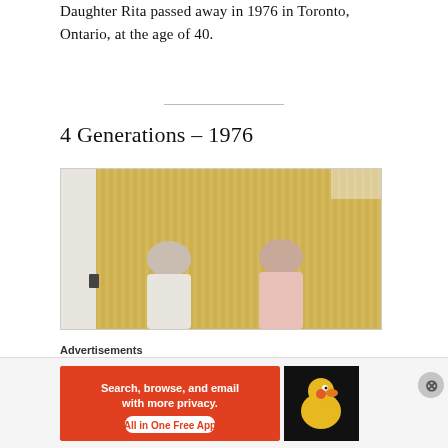Daughter Rita passed away in 1976 in Toronto, Ontario, at the age of 40.
4 Generations – 1976
[Figure (photo): Vintage 1976 photograph showing two women standing in front of golden/yellow patterned curtains. The woman on the left wears a white top and the woman on the right wears a pink top.]
Advertisements
[Figure (screenshot): DuckDuckGo advertisement banner: 'Search, browse, and email with more privacy. All in One Free App' with DuckDuckGo logo on dark background.]